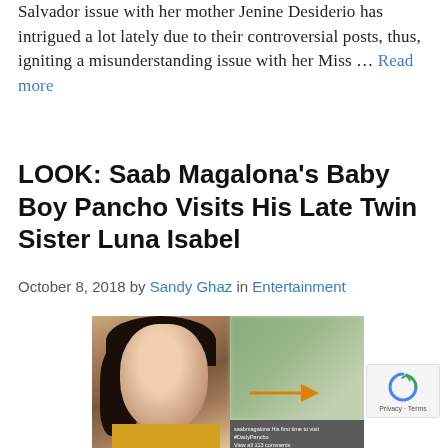Salvador issue with her mother Jenine Desiderio has intrigued a lot lately due to their controversial posts, thus, igniting a misunderstanding issue with her Miss … Read more
LOOK: Saab Magalona's Baby Boy Pancho Visits His Late Twin Sister Luna Isabel
October 8, 2018 by Sandy Ghaz in Entertainment
[Figure (photo): Composite image showing a young woman's selfie on the left (dark hair, blue eyeshadow, yellow top) and a blurred outdoor family photo on the right with an orange arrow pointing to a subject. Caption text partially visible at bottom.]